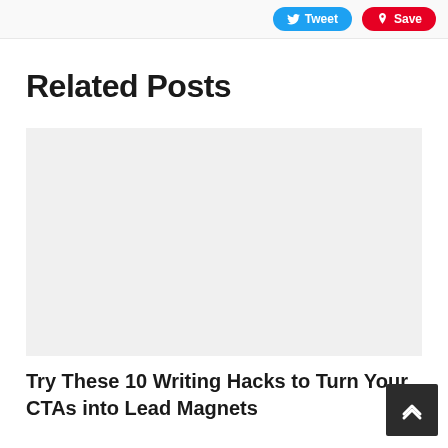Tweet  Save
Related Posts
[Figure (photo): Blank image placeholder for related post thumbnail]
Try These 10 Writing Hacks to Turn Your CTAs into Lead Magnets